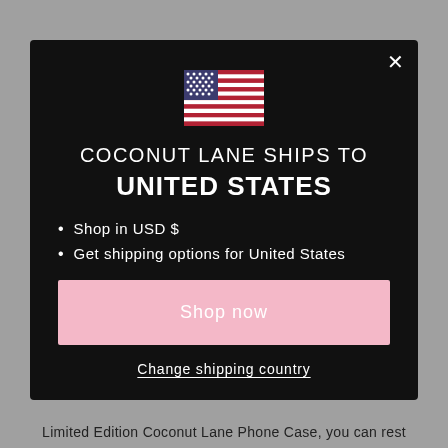[Figure (illustration): US flag emoji / icon centered at top of modal]
COCONUT LANE SHIPS TO
UNITED STATES
Shop in USD $
Get shipping options for United States
Shop now
Change shipping country
Limited Edition Coconut Lane Phone Case, you can rest